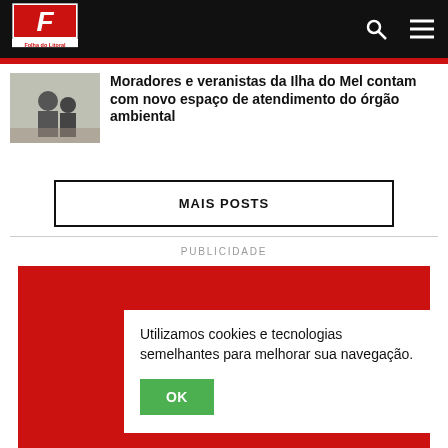[Figure (logo): Folha do Litoral logo — white F on red background with black border, text 'Folha do Litoral' below]
Moradores e veranistas da Ilha do Mel contam com novo espaço de atendimento do órgão ambiental
[Figure (photo): Thumbnail photo showing people at an indoor counter/reception desk]
MAIS POSTS
PUBLICIDADE
[Figure (other): Red advertisement block]
Utilizamos cookies e tecnologias semelhantes para melhorar sua navegação.
OK